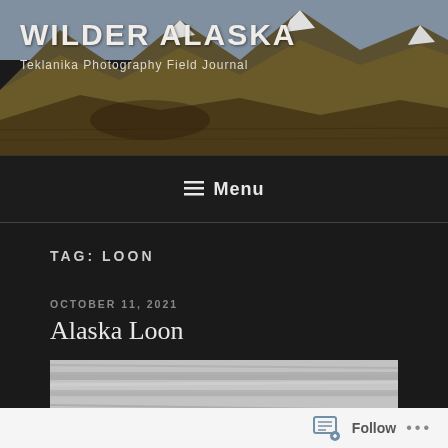WILDER ALASKA
Teklanika Photography Field Journal
≡ Menu
TAG: LOON
OCTOBER 11, 2021
Alaska Loon
[Figure (photo): Black and white photo of water surface, blurred/abstract texture, likely water with a loon]
Follow ...